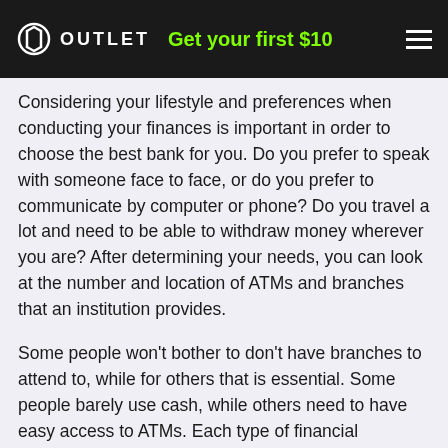OUTLET — Get your first $10
Considering your lifestyle and preferences when conducting your finances is important in order to choose the best bank for you. Do you prefer to speak with someone face to face, or do you prefer to communicate by computer or phone? Do you travel a lot and need to be able to withdraw money wherever you are? After determining your needs, you can look at the number and location of ATMs and branches that an institution provides.
Some people won't bother to don't have branches to attend to, while for others that is essential. Some people barely use cash, while others need to have easy access to ATMs. Each type of financial institution will offer these